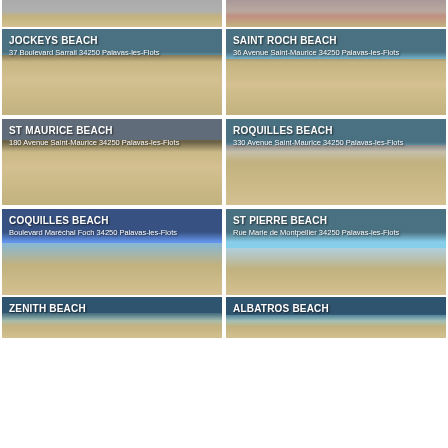[Figure (photo): Partial beach photo top left, sandy beach with wall]
[Figure (photo): Partial beach photo top right, wooden deck/pier area]
[Figure (photo): Jockeys Beach - 37 Boulevard Sarrail 34250 Palavas-les-Flots]
[Figure (photo): Saint Roch Beach - 36 Avenue Saint-Maurice 34250 Palavas-les-Flots]
[Figure (photo): St Maurice Beach - 180 Avenue Saint-Maurice 34250 Palavas-les-Flots]
[Figure (photo): Roquilles Beach - 330 Avenue Saint-Maurice 34250 Palavas-les-Flots]
[Figure (photo): Coquilles Beach - Boulevard Maréchal Foch 34250 Palavas-les-Flots]
[Figure (photo): St Pierre Beach - Rue Marie de Montpellier 34250 Palavas-les-Flots]
[Figure (photo): Zenith Beach - partial view at bottom]
[Figure (photo): Albatros Beach - partial view at bottom]